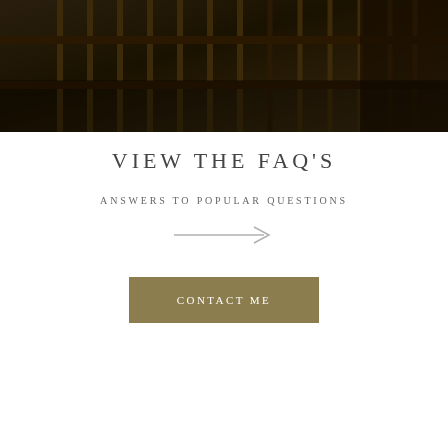[Figure (photo): Dark photo of wine cellar or wooden shelving with a figure partially visible, dark tones of brown and black]
VIEW THE FAQ'S
ANSWERS TO POPULAR QUESTIONS
[Figure (other): Right-pointing arrow in light gray]
CONTACT ME